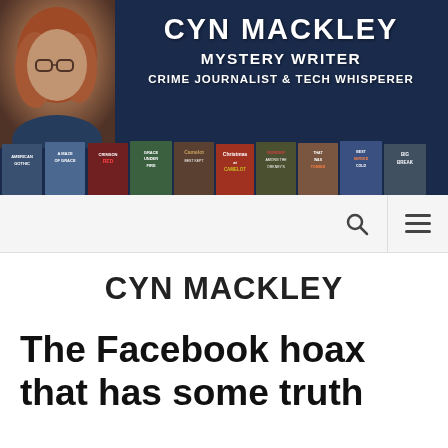[Figure (illustration): Website banner for Cyn Mackley showing author photo on left, name and taglines in white bold text on dark navy background, and a row of book covers across the bottom]
CYN MACKLEY
CYN MACKLEY
The Facebook hoax that has some truth